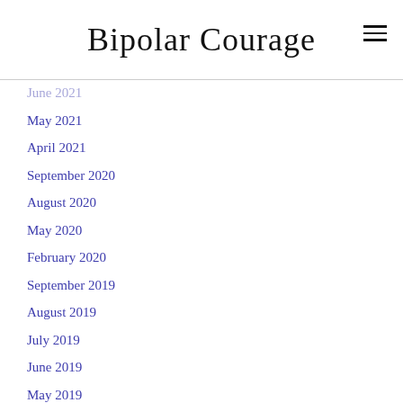Bipolar Courage
June 2021
May 2021
April 2021
September 2020
August 2020
May 2020
February 2020
September 2019
August 2019
July 2019
June 2019
May 2019
April 2019
March 2019
CATEGORIES
All